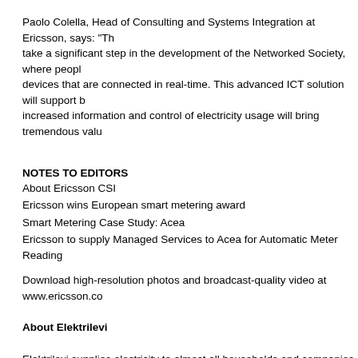Paolo Colella, Head of Consulting and Systems Integration at Ericsson, says: "Th take a significant step in the development of the Networked Society, where peopl devices that are connected in real-time. This advanced ICT solution will support b increased information and control of electricity usage will bring tremendous valu
NOTES TO EDITORS
About Ericsson CSI
Ericsson wins European smart metering award
Smart Metering Case Study: Acea
Ericsson to supply Managed Services to Acea for Automatic Meter Reading
Download high-resolution photos and broadcast-quality video at www.ericsson.co
About Elektrilevi
Elektrilevi supplies electricity to almost all households and companies in Estonia the constant supply of electricity to our customers. We maintain and repair almos than 22,000 substations. We have almost 475,000 customers across Estonia.
About Ericsson